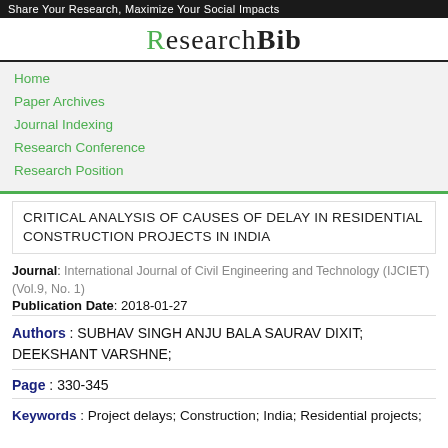Share Your Research, Maximize Your Social Impacts
ResearchBib
Home
Paper Archives
Journal Indexing
Research Conference
Research Position
CRITICAL ANALYSIS OF CAUSES OF DELAY IN RESIDENTIAL CONSTRUCTION PROJECTS IN INDIA
Journal: International Journal of Civil Engineering and Technology (IJCIET) (Vol.9, No. 1)
Publication Date: 2018-01-27
Authors : SUBHAV SINGH ANJU BALA SAURAV DIXIT; DEEKSHANT VARSHNE;
Page : 330-345
Keywords : Project delays; Construction; India; Residential projects;